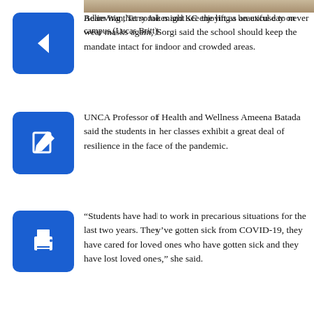[Figure (photo): Top portion of a photo showing people on campus]
Adam Wan, Terry Jakes and KC enjoying a beautiful day on campus.(Lucas Britt)
Believing that some might see the lift as an excuse to never wear masks again, Sorgi said the school should keep the mandate intact for indoor and crowded areas.
UNCA Professor of Health and Wellness Ameena Batada said the students in her classes exhibit a great deal of resilience in the face of the pandemic.
“Students have had to work in precarious situations for the last two years. They’ve gotten sick from COVID-19, they have cared for loved ones who have gotten sick and they have lost loved ones,” she said.
To Batada, the typical college life is currently unrecognizable, and the professor said she suspects this is the reason why there’s been a spike in negative emotions like anxiety and depression around campus.
“I think there was hope that we might be re-emerging, and then the surge at the end of 2021 seemed to really take a toll on morale, but I sense resolve in students,” she said.